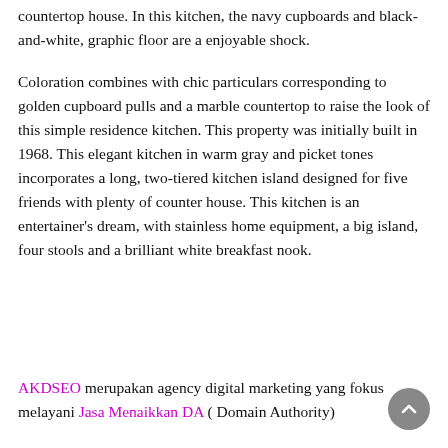countertop house. In this kitchen, the navy cupboards and black-and-white, graphic floor are a enjoyable shock.
Coloration combines with chic particulars corresponding to golden cupboard pulls and a marble countertop to raise the look of this simple residence kitchen. This property was initially built in 1968. This elegant kitchen in warm gray and picket tones incorporates a long, two-tiered kitchen island designed for five friends with plenty of counter house. This kitchen is an entertainer's dream, with stainless home equipment, a big island, four stools and a brilliant white breakfast nook.
AKDSEO merupakan agency digital marketing yang fokus melayani Jasa Menaikkan DA ( Domain Authority)